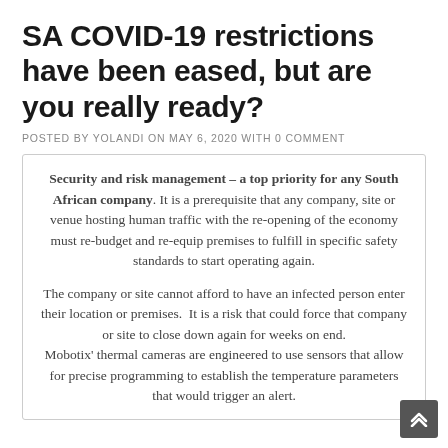SA COVID-19 restrictions have been eased, but are you really ready?
POSTED BY YOLANDI ON MAY 6, 2020 WITH 0 COMMENT
Security and risk management – a top priority for any South African company. It is a prerequisite that any company, site or venue hosting human traffic with the re-opening of the economy must re-budget and re-equip premises to fulfill in specific safety standards to start operating again.
The company or site cannot afford to have an infected person enter their location or premises.  It is a risk that could force that company or site to close down again for weeks on end.
Mobotix' thermal cameras are engineered to use sensors that allow for precise programming to establish the temperature parameters that would trigger an alert.